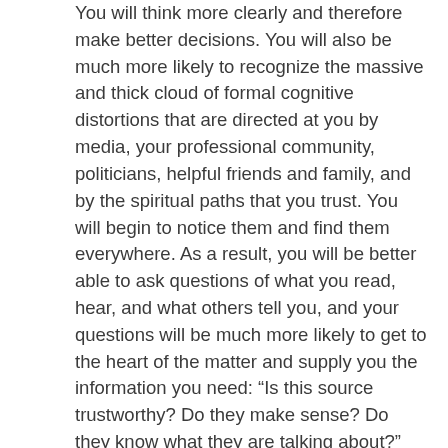You will think more clearly and therefore make better decisions. You will also be much more likely to recognize the massive and thick cloud of formal cognitive distortions that are directed at you by media, your professional community, politicians, helpful friends and family, and by the spiritual paths that you trust. You will begin to notice them and find them everywhere. As a result, you will be better able to ask questions of what you read, hear, and what others tell you, and your questions will be much more likely to get to the heart of the matter and supply you the information you need: “Is this source trustworthy? Do they make sense? Do they know what they are talking about?” Your improved ability to ask questions will also communicate to others that you have expectations about clarity, reasonableness, and rationality that are important to you. By expressing those expectations you will create a culture for yourself of people who share a respect for such questions and interests while those who do not will select themselves out of your life. This may be a problem if you suffer under the